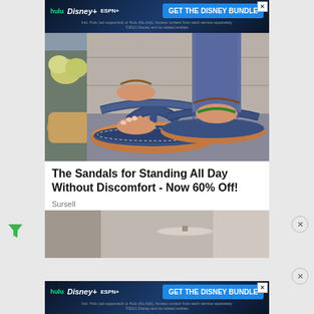[Figure (screenshot): Disney Bundle advertisement banner at top with hulu, Disney+, ESPN+ logos and 'GET THE DISNEY BUNDLE' button on blue background]
[Figure (photo): Photo of blue flip-flop sandals with ankle straps worn by a person, showing two pairs of sandals with brown soles]
The Sandals for Standing All Day Without Discomfort - Now 60% Off!
Sursell
[Figure (photo): Partial photo of a room interior, bottom portion of second article card]
[Figure (screenshot): Disney Bundle advertisement banner at bottom with hulu, Disney+, ESPN+ logos and 'GET THE DISNEY BUNDLE' button on blue background]